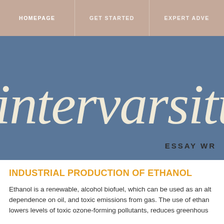HOMEPAGE | GET STARTED | EXPERT ADVI
[Figure (logo): Intervarsity Essay Writing service logo on a steel blue background with large italic script text 'intervarsity' and subtitle 'ESSAY WR' visible]
INDUSTRIAL PRODUCTION OF ETHANOL
Ethanol is a renewable, alcohol biofuel, which can be used as an alt… dependence on oil, and toxic emissions from gas. The use of ethan… lowers levels of toxic ozone-forming pollutants, reduces greenhous…